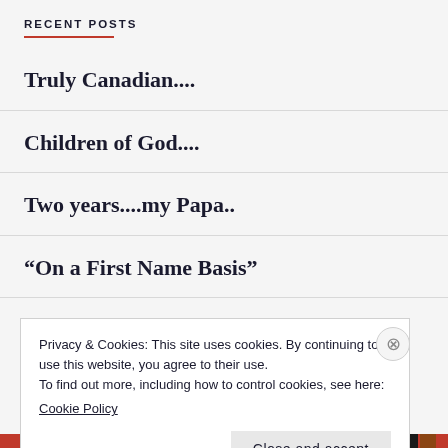RECENT POSTS
Truly Canadian....
Children of God....
Two years....my Papa..
“On a First Name Basis”
“Promise”, synonym: “lie”....
Privacy & Cookies: This site uses cookies. By continuing to use this website, you agree to their use.
To find out more, including how to control cookies, see here:
Cookie Policy
Close and accept